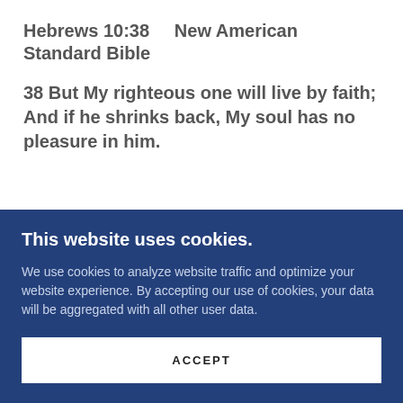Hebrews 10:38    New American Standard Bible
38 But My righteous one will live by faith; And if he shrinks back, My soul has no pleasure in him.
This website uses cookies.
We use cookies to analyze website traffic and optimize your website experience. By accepting our use of cookies, your data will be aggregated with all other user data.
ACCEPT